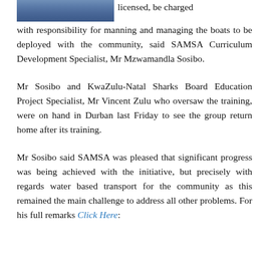[Figure (photo): Partial photo of a person wearing a blue denim shirt, cropped at top of page]
licensed, be charged with responsibility for manning and managing the boats to be deployed with the community, said SAMSA Curriculum Development Specialist, Mr Mzwamandla Sosibo.
Mr Sosibo and KwaZulu-Natal Sharks Board Education Project Specialist, Mr Vincent Zulu who oversaw the training, were on hand in Durban last Friday to see the group return home after its training.
Mr Sosibo said SAMSA was pleased that significant progress was being achieved with the initiative, but precisely with regards water based transport for the community as this remained the main challenge to address all other problems. For his full remarks Click Here: